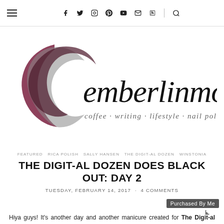Navigation bar with hamburger menu and social icons: f (Facebook), Twitter, Instagram, Pinterest, YouTube, Email, RSS, More, Search
[Figure (logo): emberlinmoon blog logo — cursive script text 'emberlinmoon' with a dark red/maroon brush-stroke crescent moon circle on the left, and tagline 'coffee · writing · lifestyle · nail polish' in script below]
FEATURED RICA POLISH SALLY HANSEN THE DIGIT-AL DOZEN WINSTONIA
THE DIGIT-AL DOZEN DOES BLACK OUT: DAY 2
TUESDAY, FEBRUARY 14, 2017 · 4 COMMENTS
Purchased By Me
Hiya guys! It's another day and another manicure created for The Digit-al Dozen. Our theme this month is Black Out and it